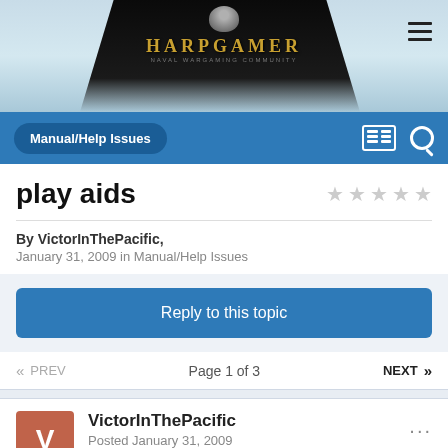[Figure (screenshot): HARPGAMER website banner with logo, dark background, and hamburger menu icon]
Manual/Help Issues
play aids
By VictorInThePacific,
January 31, 2009 in Manual/Help Issues
Reply to this topic
« PREV   Page 1 of 3   NEXT »
VictorInThePacific
Posted January 31, 2009